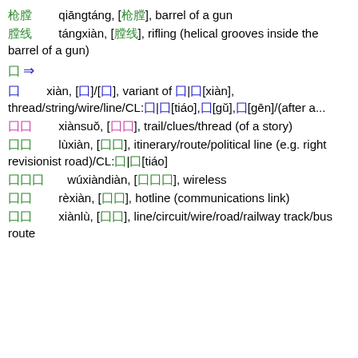枪膛        qiāngtáng, [枪膛], barrel of a gun
膛线        tángxiàn, [膛线], rifling (helical grooves inside the barrel of a gun)
⇒
线        xiàn, [线]/[线], variant of 线|线[xiàn], thread/string/wire/line/CL:条|条[tiáo],股[gǔ],根[gēn]/(after a...
线索        xiànsuǒ, [线索], trail/clues/thread (of a story)
路线        lùxiàn, [路线], itinerary/route/political line (e.g. right revisionist road)/CL:条|条[tiáo]
无线电        wúxiàndiàn, [无线电], wireless
热线        rèxiàn, [热线], hotline (communications link)
线路        xiànlù, [线路], line/circuit/wire/road/railway track/bus route